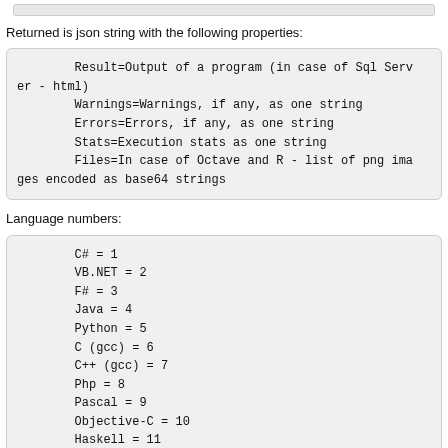Returned is json string with the following properties:
Result=Output of a program (in case of Sql Server - html)
        Warnings=Warnings, if any, as one string
        Errors=Errors, if any, as one string
        Stats=Execution stats as one string
        Files=In case of Octave and R - list of png images encoded as base64 strings
Language numbers:
C# = 1
        VB.NET = 2
        F# = 3
        Java = 4
        Python = 5
        C (gcc) = 6
        C++ (gcc) = 7
        Php = 8
        Pascal = 9
        Objective-C = 10
        Haskell = 11
        Ruby = 12